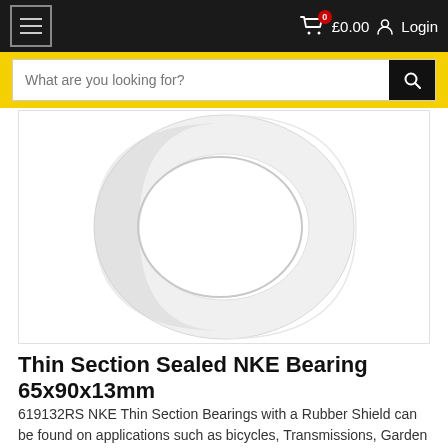Navigation bar with hamburger menu, cart (£0.00), and Login
Search bar: What are you looking for?
[Figure (photo): Thin section sealed bearing ring, circular, white/light grey on white background, viewed from front-on angle showing the ring shape]
Thin Section Sealed NKE Bearing 65x90x13mm
619132RS NKE Thin Section Bearings with a Rubber Shield can be found on applications such as bicycles, Transmissions, Garden equipment and general machinery.